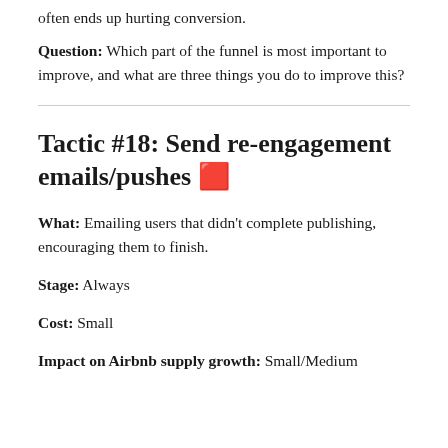often ends up hurting conversion.
Question: Which part of the funnel is most important to improve, and what are three things you do to improve this?
Tactic #18: Send re-engagement emails/pushes 🔁
What: Emailing users that didn't complete publishing, encouraging them to finish.
Stage: Always
Cost: Small
Impact on Airbnb supply growth: Small/Medium